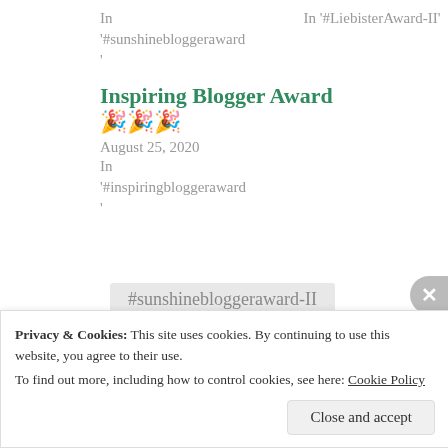In '#sunshinebloggeraward'
In '#LiebisterAward-II'
Inspiring Blogger Award
🎉🎉🎉
August 25, 2020
In '#inspiringbloggeraward'
#sunshinebloggeraward-II
Privacy & Cookies: This site uses cookies. By continuing to use this website, you agree to their use.
To find out more, including how to control cookies, see here: Cookie Policy
Close and accept